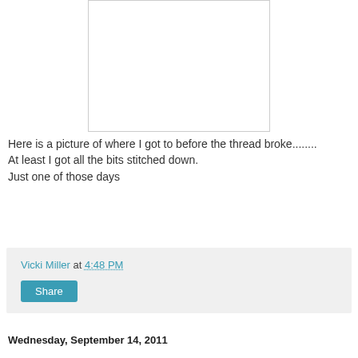[Figure (other): A white rectangular image placeholder with a light gray border, showing a blank white area representing a photo of stitching work before thread broke.]
Here is a picture of where I got to before the thread broke........
At least I got all the bits stitched down.
Just one of those days
Vicki Miller at 4:48 PM
Share
Wednesday, September 14, 2011